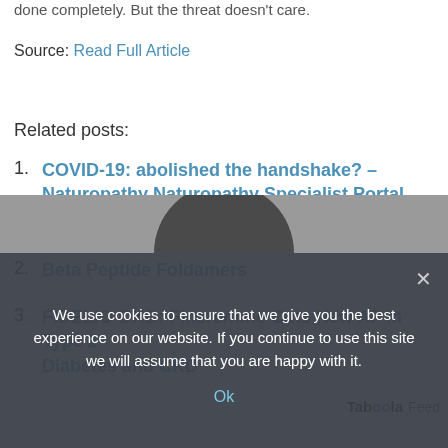done completely. But the threat doesn't care.
Source: Read Full Article
Related posts:
COVID-19: abolished the handshake? – Naturopathy Naturopathy Specialist Portal
Beta Peptide Foldamers
FIDELIO-DKD: Finerenone Cuts New AF in Type 2 Diabetes and CKD
[Figure (photo): Partial view of a person's head/face at the bottom of the page]
We use cookies to ensure that we give you the best experience on our website. If you continue to use this site we will assume that you are happy with it.
Ok